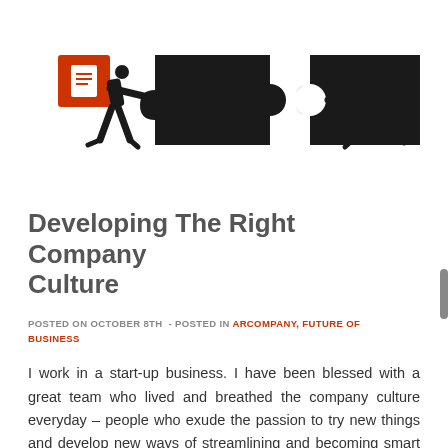[Figure (illustration): Two silhouetted figures pushing together two interlocking puzzle pieces. A red square icon with a document symbol is in the upper left corner of the image.]
Developing The Right Company Culture
POSTED ON OCTOBER 8TH  - POSTED IN ARCOMPANY, FUTURE OF BUSINESS
I work in a start-up business. I have been blessed with a great team who lived and breathed the company culture everyday – people who exude the passion to try new things and develop new ways of streamlining and becoming smart in how we grow and attract the right customers. As a small company, we listened [...]